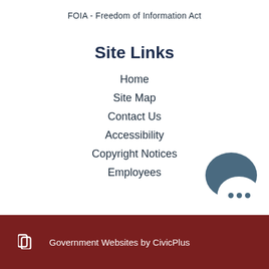FOIA - Freedom of Information Act
Site Links
Home
Site Map
Contact Us
Accessibility
Copyright Notices
Employees
Government Websites by CivicPlus